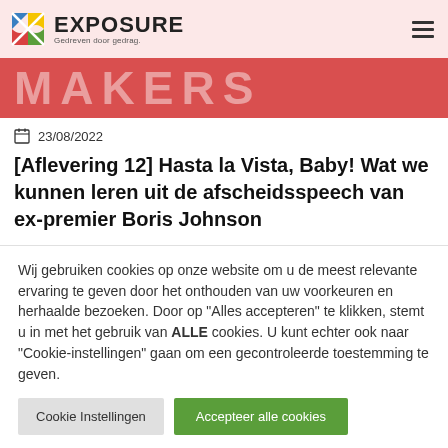[Figure (logo): Exposure logo with colorful X icon and tagline 'Gedreven door gedrag.']
[Figure (illustration): Red banner with large faded text 'MAKERS']
23/08/2022
[Aflevering 12] Hasta la Vista, Baby! Wat we kunnen leren uit de afscheidsspeech van ex-premier Boris Johnson
Wij gebruiken cookies op onze website om u de meest relevante ervaring te geven door het onthouden van uw voorkeuren en herhaalde bezoeken. Door op "Alles accepteren" te klikken, stemt u in met het gebruik van ALLE cookies. U kunt echter ook naar "Cookie-instellingen" gaan om een gecontroleerde toestemming te geven.
Cookie Instellingen | Accepteer alle cookies